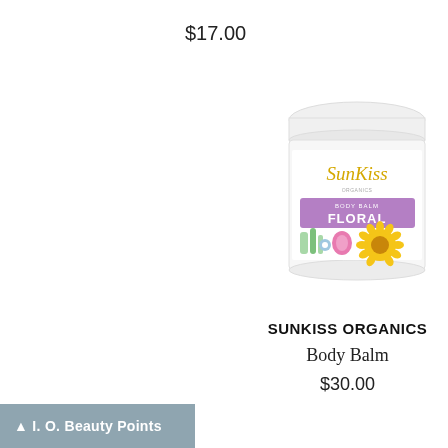$17.00
[Figure (photo): SunKiss Organics Body Balm Floral product jar with white lid, colorful label showing sunflower and floral design with purple band reading BODY BALM FLORAL]
SUNKISS ORGANICS
Body Balm
$30.00
▲ I. O. Beauty Points